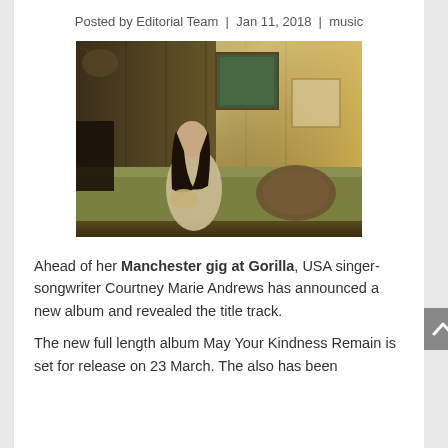Posted by Editorial Team | Jan 11, 2018 | music
[Figure (photo): A young woman with long dark hair sitting on a green sofa in a wood-panelled room, looking to the side. Warm, moody lighting with framed pictures on the wall.]
Ahead of her Manchester gig at Gorilla, USA singer-songwriter Courtney Marie Andrews has announced a new album and revealed the title track.
The new full length album May Your Kindness Remain is set for release on 23 March. The also has been